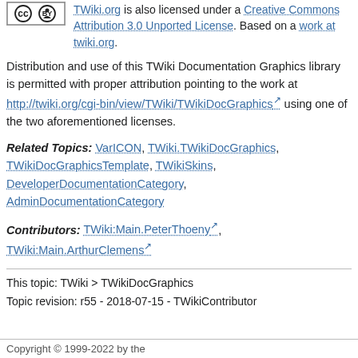TWiki.org is also licensed under a Creative Commons Attribution 3.0 Unported License. Based on a work at twiki.org.
Distribution and use of this TWiki Documentation Graphics library is permitted with proper attribution pointing to the work at http://twiki.org/cgi-bin/view/TWiki/TWikiDocGraphics using one of the two aforementioned licenses.
Related Topics: VarICON, TWiki.TWikiDocGraphics, TWikiDocGraphicsTemplate, TWikiSkins, DeveloperDocumentationCategory, AdminDocumentationCategory
Contributors: TWiki:Main.PeterThoeny, TWiki:Main.ArthurClemens
This topic: TWiki > TWikiDocGraphics
Topic revision: r55 - 2018-07-15 - TWikiContributor
Copyright © 1999-2022 by the